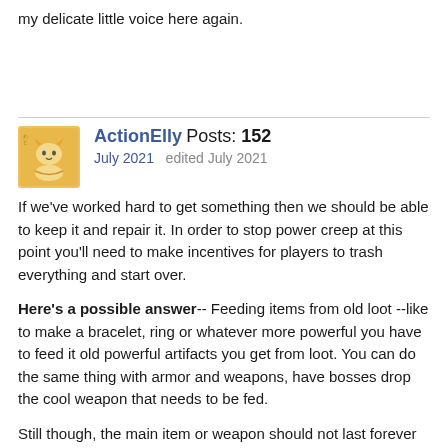my delicate little voice here again.
ActionElly Posts: 152
July 2021   edited July 2021
If we've worked hard to get something then we should be able to keep it and repair it. In order to stop power creep at this point you'll need to make incentives for players to trash everything and start over.
Here's a possible answer-- Feeding items from old loot --like to make a bracelet, ring or whatever more powerful you have to feed it old powerful artifacts you get from loot. You can do the same thing with armor and weapons, have bosses drop the cool weapon that needs to be fed.
Still though, the main item or weapon should not last forever or need ridiculous amounts of resources to feed it, that gets annoying.